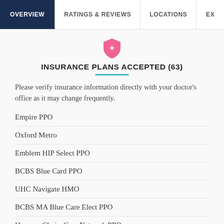OVERVIEW | RATINGS & REVIEWS | LOCATIONS | EX
INSURANCE PLANS ACCEPTED (63)
Please verify insurance information directly with your doctor's office as it may change frequently.
Empire PPO
Oxford Metro
Emblem HIP Select PPO
BCBS Blue Card PPO
UHC Navigate HMO
BCBS MA Blue Care Elect PPO
Humana ChoiceCare Network PPO
Empire HMO
UHC Options PPO